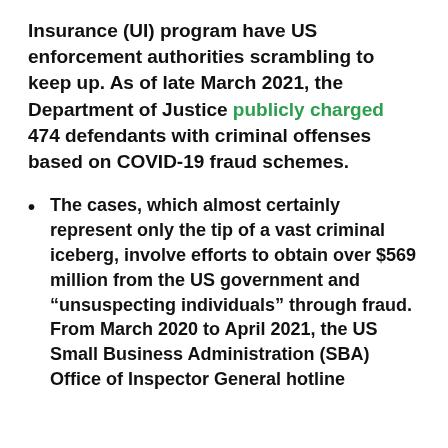Insurance (UI) program have US enforcement authorities scrambling to keep up. As of late March 2021, the Department of Justice publicly charged 474 defendants with criminal offenses based on COVID-19 fraud schemes.
The cases, which almost certainly represent only the tip of a vast criminal iceberg, involve efforts to obtain over $569 million from the US government and “unsuspecting individuals” through fraud. From March 2020 to April 2021, the US Small Business Administration (SBA) Office of Inspector General hotline